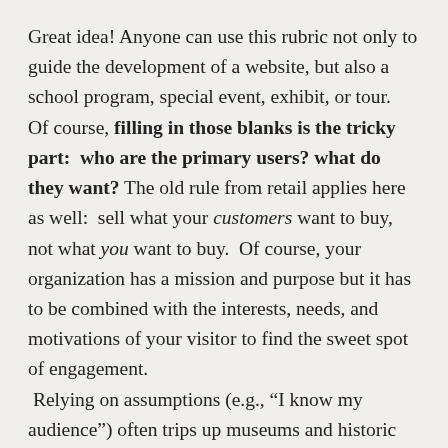Great idea! Anyone can use this rubric not only to guide the development of a website, but also a school program, special event, exhibit, or tour.  Of course, filling in those blanks is the tricky part:  who are the primary users? what do they want? The old rule from retail applies here as well:  sell what your customers want to buy, not what you want to buy.  Of course, your organization has a mission and purpose but it has to be combined with the interests, needs, and motivations of your visitor to find the sweet spot of engagement.  Relying on assumptions (e.g., “I know my audience”) often trips up museums and historic sites because they’re based on untested superficial anecdotes.